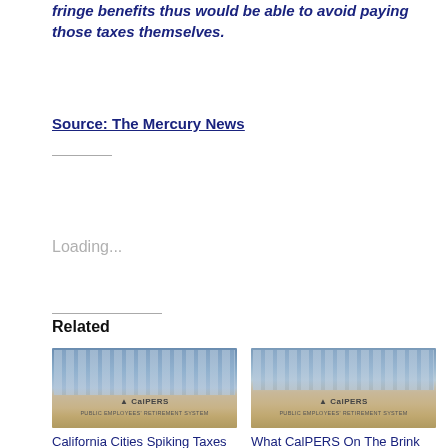fringe benefits thus would be able to avoid paying those taxes themselves.
Source: The Mercury News
Loading...
Related
[Figure (photo): CalPERS building sign photo]
California Cities Spiking Taxes to Pay Spiking
[Figure (photo): CalPERS building sign photo]
What CalPERS On The Brink Of Insolvency